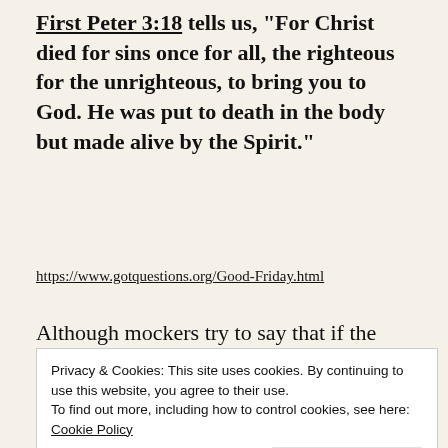First Peter 3:18 tells us, "For Christ died for sins once for all, the righteous for the unrighteous, to bring you to God. He was put to death in the body but made alive by the Spirit."
https://www.gotquestions.org/Good-Friday.html
Although mockers try to say that if the
Privacy & Cookies: This site uses cookies. By continuing to use this website, you agree to their use.
To find out more, including how to control cookies, see here:
Cookie Policy
Close and accept